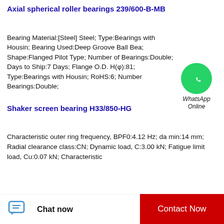Axial spherical roller bearings 239/600-B-MB
Bearing Material:[Steel] Steel; Type:Bearings with Housin; Bearing Used:Deep Groove Ball Bea; Shape:Flanged Pilot Type; Number of Bearings:Double; Days to Ship:7 Days; Flange O.D. H(φ):81; Type:Bearings with Housin; RoHS:6; Number Bearings:Double;
[Figure (logo): WhatsApp Online button — green circle with phone icon and text 'WhatsApp Online']
Shaker screen bearing H33/850-HG
Characteristic outer ring frequency, BPF0:4.12 Hz; da min:14 mm; Radial clearance class:CN; Dynamic load, C:3.00 kN; Fatigue limit load, Cu:0.07 kN; Characteristic...
Chat now   Contact Now